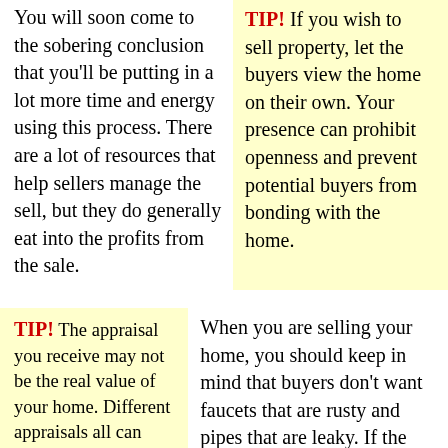You will soon come to the sobering conclusion that you'll be putting in a lot more time and energy using this process. There are a lot of resources that help sellers manage the sell, but they do generally eat into the profits from the sale.
TIP! If you wish to sell property, let the buyers view the home on their own. Your presence can prohibit openness and prevent potential buyers from bonding with the home.
TIP! The appraisal you receive may not be the real value of your home. Different appraisals all can have different results.
When you are selling your home, you should keep in mind that buyers don't want faucets that are rusty and pipes that are leaky. If the plumbing in your property isn't in good shape, it can